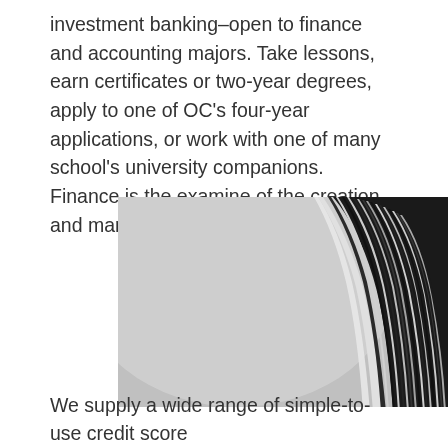investment banking–open to finance and accounting majors. Take lessons, earn certificates or two-year degrees, apply to one of OC's four-year applications, or work with one of many school's university companions. Finance is the examine of the creation and management of wealth.
[Figure (photo): Black and white photograph of a curved modern glass office building, shot from below looking up, showing the curved facade with horizontal lines/blinds on the right side and open sky on the left.]
We supply a wide range of simple-to-use credit score